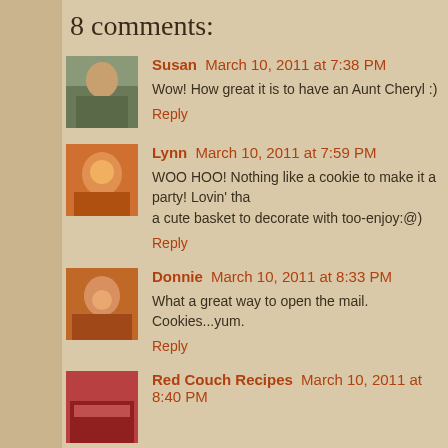8 comments:
Susan March 10, 2011 at 7:38 PM
Wow! How great it is to have an Aunt Cheryl :)
Reply
Lynn March 10, 2011 at 7:59 PM
WOO HOO! Nothing like a cookie to make it a party! Lovin' that a cute basket to decorate with too-enjoy:@)
Reply
Donnie March 10, 2011 at 8:33 PM
What a great way to open the mail. Cookies...yum.
Reply
Red Couch Recipes March 10, 2011 at 8:40 PM